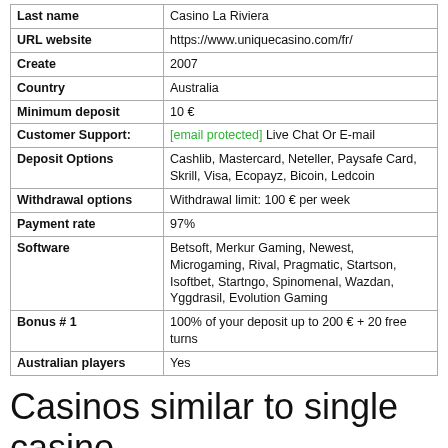|  |  |
| --- | --- |
| Last name | Casino La Riviera |
| URL website | https://www.uniquecasino.com/fr/ |
| Create | 2007 |
| Country | Australia |
| Minimum deposit | 10 € |
| Customer Support: | [email protected] Live Chat Or E-mail |
| Deposit Options | Cashlib, Mastercard, Neteller, Paysafe Card, Skrill, Visa, Ecopayz, Bicoin, Ledcoin |
| Withdrawal options | Withdrawal limit: 100 € per week |
| Payment rate | 97% |
| Software | Betsoft, Merkur Gaming, Newest, Microgaming, Rival, Pragmatic, Startson, Isoftbet, Startngo, Spinomenal, Wazdan, Yggdrasil, Evolution Gaming |
| Bonus # 1 | 100% of your deposit up to 200 € + 20 free turns |
| Australian players | Yes |
Casinos similar to single casino
| casino | bonus |  |
| --- | --- | --- |
|  | €000 € Bonus +300 |  |